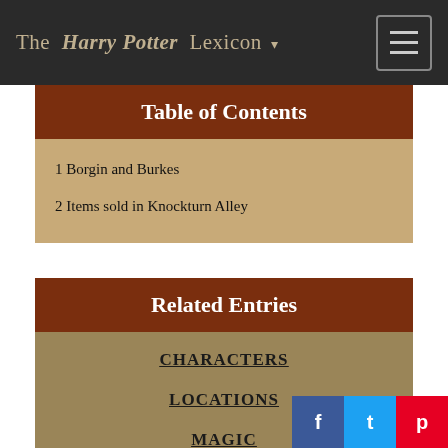The Harry Potter Lexicon
Table of Contents
1 Borgin and Burkes
2 Items sold in Knockturn Alley
Related Entries
CHARACTERS
LOCATIONS
MAGIC
EVENTS
THINGS